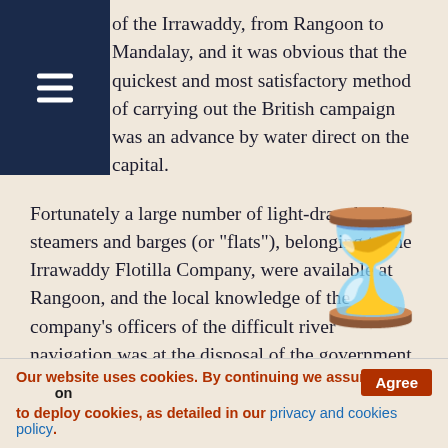of the Irrawaddy, from Rangoon to Mandalay, and it was obvious that the quickest and most satisfactory method of carrying out the British campaign was an advance by water direct on the capital.
Fortunately a large number of light-draught river steamers and barges (or "flats"), belonging to the Irrawaddy Flotilla Company, were available at Rangoon, and the local knowledge of the company's officers of the difficult river navigation was at the disposal of the government. Major-General, afterwards Sir, H.N.D. Prendergast, V.C., K.C.B., R.E., was placed in command of the expedition. As was only to be expected in an enterprise of this description, the navy as well as the army was called in requi...
[Figure (illustration): Hourglass emoji overlaid on the bottom-right of the text area]
Our website uses cookies. By continuing we assume you agree on to deploy cookies, as detailed in our privacy and cookies policy.